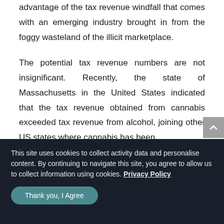advantage of the tax revenue windfall that comes with an emerging industry brought in from the foggy wasteland of the illicit marketplace.
The potential tax revenue numbers are not insignificant. Recently, the state of Massachusetts in the United States indicated that the tax revenue obtained from cannabis exceeded tax revenue from alcohol, joining other US states where cannabis has been
This site uses cookies to collect activity data and personalise content. By continuing to navigate this site, you agree to allow us to collect information using cookies. Privacy Policy
Thank you, I Agree